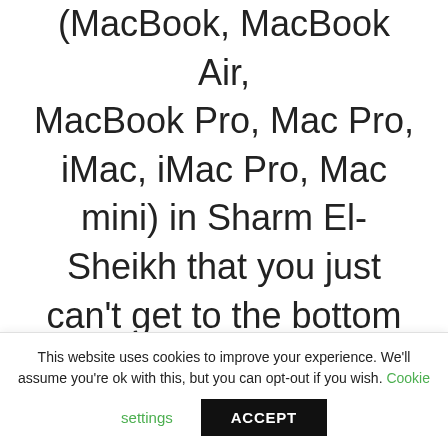(MacBook, MacBook Air, MacBook Pro, Mac Pro, iMac, iMac Pro, Mac mini) in Sharm El-Sheikh that you just can't get to the bottom of, bring it to the professional repair
This website uses cookies to improve your experience. We'll assume you're ok with this, but you can opt-out if you wish. Cookie settings ACCEPT